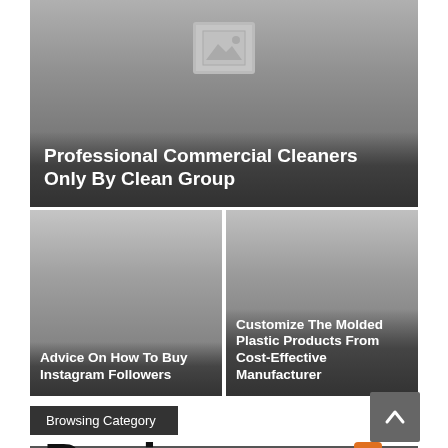[Figure (screenshot): Gray card with image placeholder icon at top and title overlay at bottom]
Professional Commercial Cleaners Only By Clean Group
[Figure (screenshot): Gray card - left panel with dark gradient overlay]
Advice On How To Buy Instagram Followers
[Figure (screenshot): Gray card - right panel with dark gradient overlay]
Customize The Molded Plastic Products From Cost-Effective Manufacturer
Browsing Category
Business